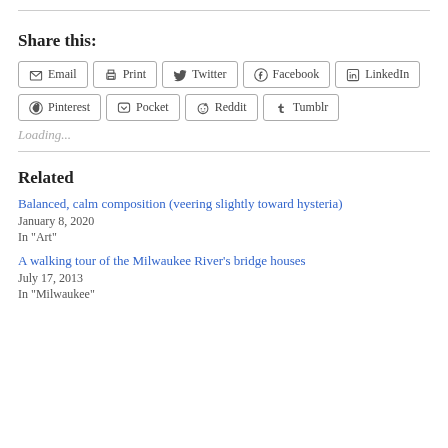Share this:
Email | Print | Twitter | Facebook | LinkedIn | Pinterest | Pocket | Reddit | Tumblr
Loading...
Related
Balanced, calm composition (veering slightly toward hysteria)
January 8, 2020
In "Art"
A walking tour of the Milwaukee River's bridge houses
July 17, 2013
In "Milwaukee"